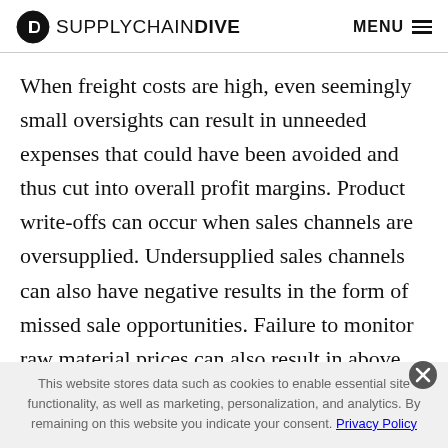SUPPLYCHAIN DIVE  MENU
When freight costs are high, even seemingly small oversights can result in unneeded expenses that could have been avoided and thus cut into overall profit margins. Product write-offs can occur when sales channels are oversupplied. Undersupplied sales channels can also have negative results in the form of missed sale opportunities. Failure to monitor raw material prices can also result in above average costs across multiple sources.
This website stores data such as cookies to enable essential site functionality, as well as marketing, personalization, and analytics. By remaining on this website you indicate your consent. Privacy Policy